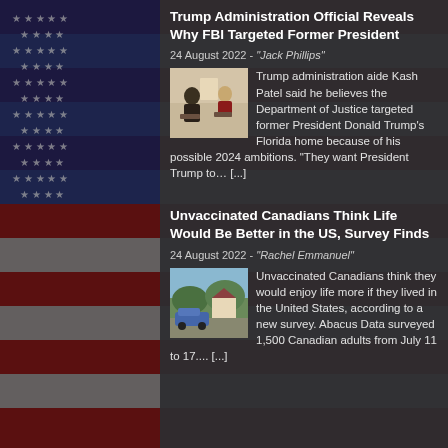Trump Administration Official Reveals Why FBI Targeted Former President
24 August 2022 - "Jack Phillips"
[Figure (photo): Two men in conversation, one in dark suit]
Trump administration aide Kash Patel said he believes the Department of Justice targeted former President Donald Trump's Florida home because of his possible 2024 ambitions. "They want President Trump to... [...]
Unvaccinated Canadians Think Life Would Be Better in the US, Survey Finds
24 August 2022 - "Rachel Emmanuel"
[Figure (photo): Suburban street with car and houses]
Unvaccinated Canadians think they would enjoy life more if they lived in the United States, according to a new survey. Abacus Data surveyed 1,500 Canadian adults from July 11 to 17.... [...]